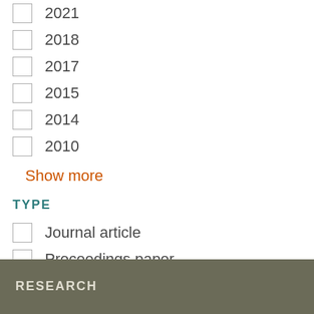2021
2018
2017
2015
2014
2010
Show more
TYPE
Journal article
Proceedings paper
Book chapter (checked)
RESEARCH